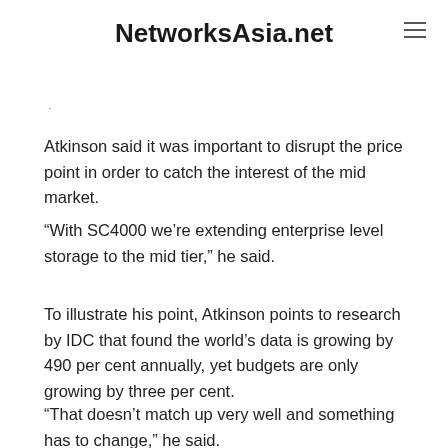NetworksAsia.net
Atkinson said it was important to disrupt the price point in order to catch the interest of the mid market.
“With SC4000 we’re extending enterprise level storage to the mid tier,” he said.
To illustrate his point, Atkinson points to research by IDC that found the world’s data is growing by 490 per cent annually, yet budgets are only growing by three per cent.
“That doesn’t match up very well and something has to change,” he said.